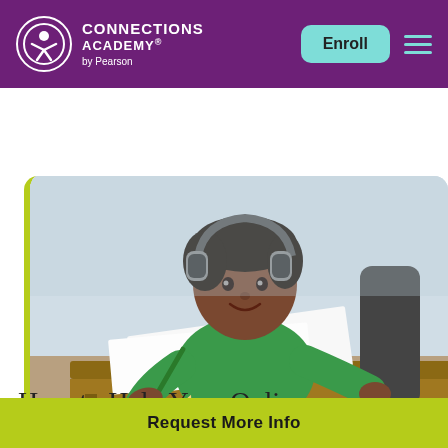CONNECTIONS ACADEMY® by Pearson
[Figure (photo): A young Black boy wearing headphones and a green long-sleeve shirt, smiling while writing in a notebook at a wooden desk. The image has a yellow-green left border and a Connections Academy logo watermark in the lower left.]
How to Help Your Online Kindergartner Excel
Request More Info